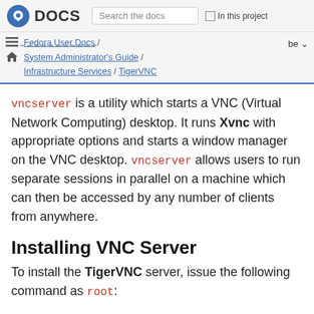Fedora DOCS | Search the docs | In this project
Fedora User Docs / System Administrator's Guide / Infrastructure Services / TigerVNC
vncserver is a utility which starts a VNC (Virtual Network Computing) desktop. It runs Xvnc with appropriate options and starts a window manager on the VNC desktop. vncserver allows users to run separate sessions in parallel on a machine which can then be accessed by any number of clients from anywhere.
Installing VNC Server
To install the TigerVNC server, issue the following command as root: